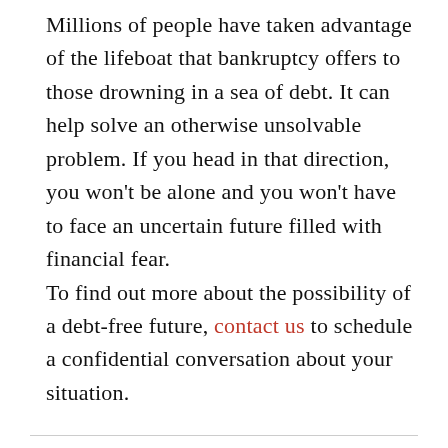Millions of people have taken advantage of the lifeboat that bankruptcy offers to those drowning in a sea of debt. It can help solve an otherwise unsolvable problem. If you head in that direction, you won't be alone and you won't have to face an uncertain future filled with financial fear.
To find out more about the possibility of a debt-free future, contact us to schedule a confidential conversation about your situation.